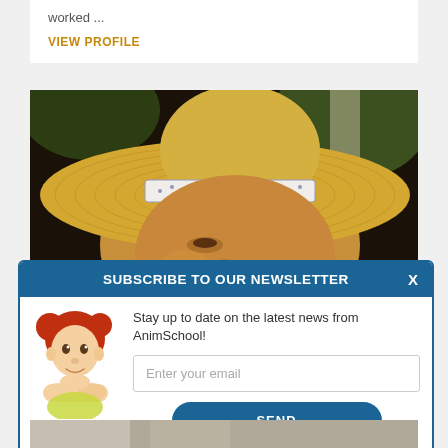worked ...
VIEW PROFILE
[Figure (photo): Close-up photo of a woman wearing a large brimmed straw hat with a white and blue patterned band. Background shows blurred greenery.]
SUBSCRIBE TO OUR NEWSLETTER
[Figure (illustration): Cartoon mascot of a red-haired girl resting her chin on her hands, smiling]
Stay up to date on the latest news from AnimSchool!
Enter your email
SEND